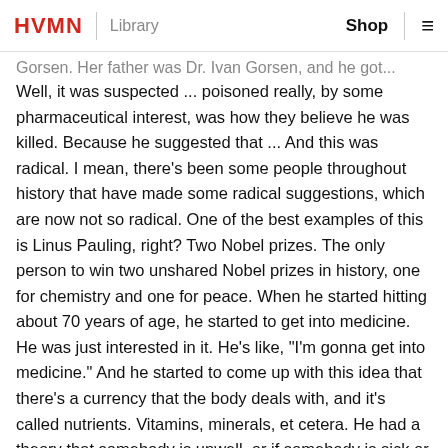HVMN | Library   Shop ≡
Gorsen. Her father was Dr. Ivan Gorsen, and he got... Well, it was suspected ... poisoned really, by some pharmaceutical interest, was how they believe he was killed. Because he suggested that ... And this was radical. I mean, there's been some people throughout history that have made some radical suggestions, which are now not so radical. One of the best examples of this is Linus Pauling, right? Two Nobel prizes. The only person to win two unshared Nobel prizes in history, one for chemistry and one for peace. When he started hitting about 70 years of age, he started to get into medicine. He was just interested in it. He's like, "I'm gonna get into medicine." And he started to come up with this idea that there's a currency that the body deals with, and it's called nutrients. Vitamins, minerals, et cetera. He had a theory that if somebody is unwell, or if somebody is sick or has a compromised immune system, that a certain nutrient could help with that. So he was the first person to use this...